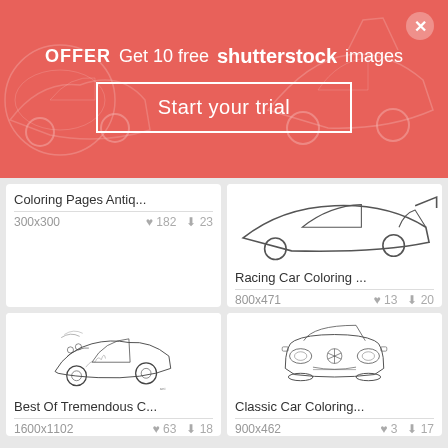[Figure (screenshot): Shutterstock promotional banner: OFFER Get 10 free shutterstock images Start your trial button with car coloring page illustrations in background]
Coloring Pages Antiq...
300x300  ♥ 182  ⬇ 23
[Figure (illustration): Racing car coloring page outline drawing]
Racing Car Coloring ...
800x471  ♥ 13  ⬇ 20
[Figure (illustration): Hot rod custom car coloring page - Best Of Tremendous C...]
Best Of Tremendous C...
1600x1102  ♥ 63  ⬇ 18
[Figure (illustration): Classic Mercedes car front-view coloring page outline]
Classic Car Coloring...
900x462  ♥ 3  ⬇ 17